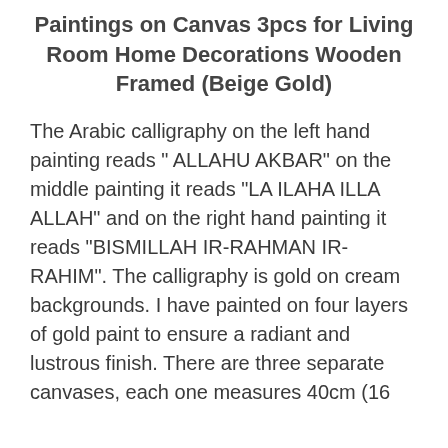Paintings on Canvas 3pcs for Living Room Home Decorations Wooden Framed (Beige Gold)
The Arabic calligraphy on the left hand painting reads " ALLAHU AKBAR" on the middle painting it reads "LA ILAHA ILLA ALLAH" and on the right hand painting it reads "BISMILLAH IR-RAHMAN IR-RAHIM". The calligraphy is gold on cream backgrounds. I have painted on four layers of gold paint to ensure a radiant and lustrous finish. There are three separate canvases, each one measures 40cm (16